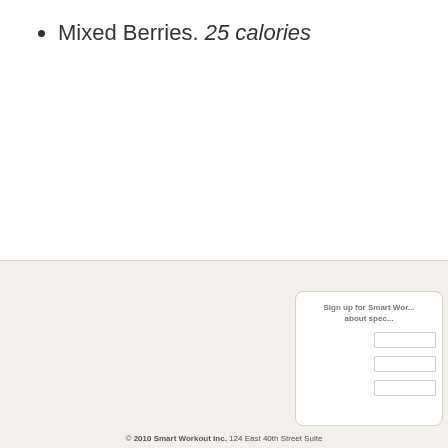Mixed Berries. 25 calories
Sign up for Smart Workout about spec
© 2010 Smart Workout Inc. 124 East 40th Street Suite